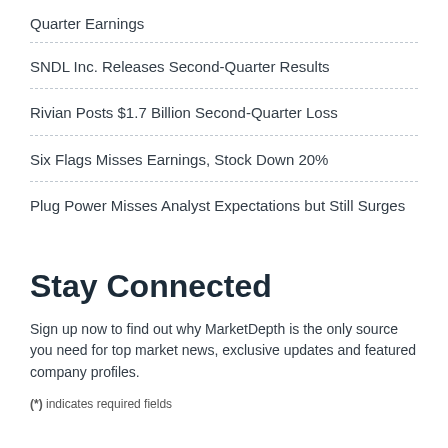Quarter Earnings
SNDL Inc. Releases Second-Quarter Results
Rivian Posts $1.7 Billion Second-Quarter Loss
Six Flags Misses Earnings, Stock Down 20%
Plug Power Misses Analyst Expectations but Still Surges
Stay Connected
Sign up now to find out why MarketDepth is the only source you need for top market news, exclusive updates and featured company profiles.
(*) indicates required fields